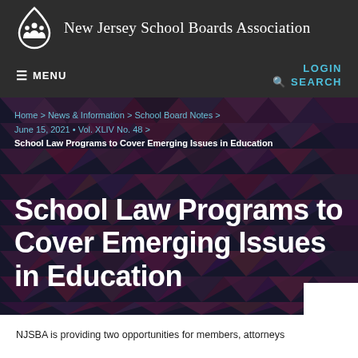New Jersey School Boards Association
≡ MENU    LOGIN    🔍 SEARCH
Home > News & Information > School Board Notes > June 15, 2021 • Vol. XLIV No. 48 > School Law Programs to Cover Emerging Issues in Education
School Law Programs to Cover Emerging Issues in Education
NJSBA is providing two opportunities for members, attorneys